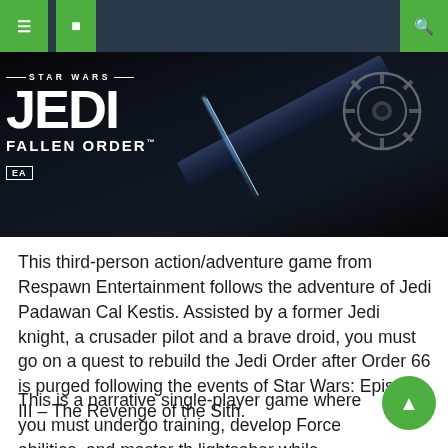Navigation bar with menu icons and search
[Figure (photo): Star Wars Jedi: Fallen Order game banner with dark background, lightsaber, and Imperial symbol. Logo shows STAR WARS JEDI FALLEN ORDER with EA branding.]
This third-person action/adventure game from Respawn Entertainment follows the adventure of Jedi Padawan Cal Kestis. Assisted by a former Jedi knight, a crusader pilot and a brave droid, you must go on a quest to rebuild the Jedi Order after Order 66 is purged following the events of Star Wars: Episode III – The Revenge of the Sith.
This is a narrative single-player game where you must undergo training, develop Force abilities, and master the lightsaber while avoiding the dreaded Galactic Empire. You'll